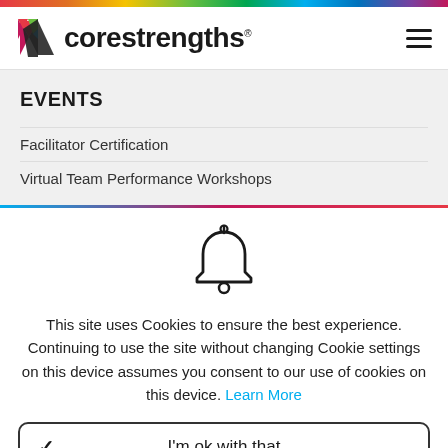[Figure (logo): Core Strengths logo with colorful V/checkmark icon and text 'corestrengths' with registered trademark symbol]
EVENTS
Facilitator Certification
Virtual Team Performance Workshops
[Figure (illustration): Bell notification icon (outline style)]
This site uses Cookies to ensure the best experience. Continuing to use the site without changing Cookie settings on this device assumes you consent to our use of cookies on this device. Learn More
I'm ok with that